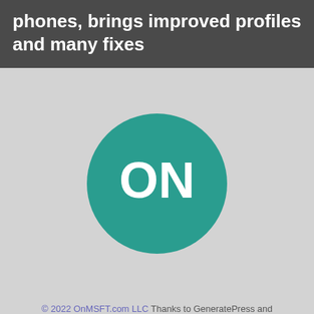phones, brings improved profiles and many fixes
[Figure (logo): OnMSFT.com logo: a teal circle with white bold letters ON]
© 2022 OnMSFT.com LLC Thanks to GeneratePress and Heather!